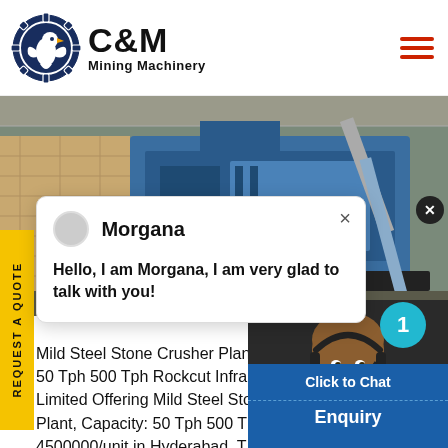C&M Mining Machinery
[Figure (photo): Blue industrial mining/crushing equipment in a plant/warehouse setting]
Morgana
Hello, I am Morgana, I am very glad to talk with you!
Mild Steel Stone Crusher Plant 50 Tph 500 Tph Rockcut Infra Limited Offering Mild Steel Stone Crusher Plant, Capacity: 50 Tph 500 T 4500000/unit in Hyderabad, get price
[Figure (photo): Female customer service agent wearing headset, with blue chat badge showing number 1, Click to Chat button, and Enquiry button]